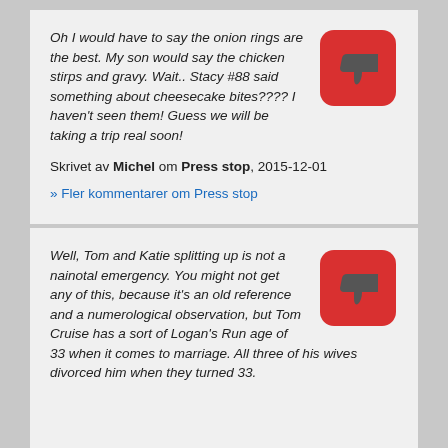Oh I would have to say the onion rings are the best. My son would say the chicken stirps and gravy. Wait.. Stacy #88 said something about cheesecake bites???? I haven't seen them! Guess we will be taking a trip real soon!
Skrivet av Michel om Press stop, 2015-12-01
» Fler kommentarer om Press stop
Well, Tom and Katie splitting up is not a nainotal emergency. You might not get any of this, because it's an old reference and a numerological observation, but Tom Cruise has a sort of Logan's Run age of 33 when it comes to marriage. All three of his wives divorced him when they turned 33.